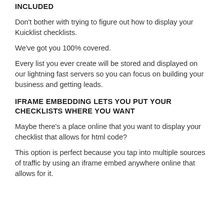INCLUDED
Don't bother with trying to figure out how to display your Kuicklist checklists.
We've got you 100% covered.
Every list you ever create will be stored and displayed on our lightning fast servers so you can focus on building your business and getting leads.
IFRAME EMBEDDING LETS YOU PUT YOUR CHECKLISTS WHERE YOU WANT
Maybe there's a place online that you want to display your checklist that allows for html code?
This option is perfect because you tap into multiple sources of traffic by using an iframe embed anywhere online that allows for it.